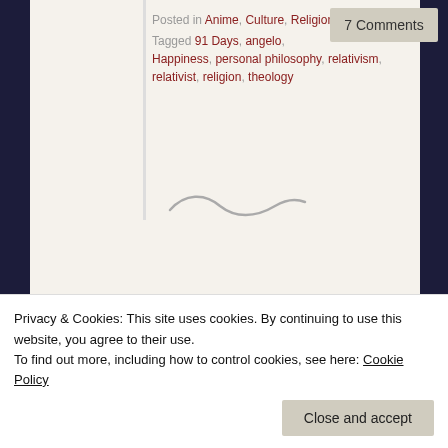Posted in Anime, Culture, Religion
Tagged 91 Days, angelo, Happiness, personal philosophy, relativism, relativist, religion, theology
7 Comments
[Figure (illustration): Decorative squiggle/tilde divider]
The Project Itoh Anime Movies and Reading Foreign SF
Sep 9
by
Privacy & Cookies: This site uses cookies. By continuing to use this website, you agree to their use.
To find out more, including how to control cookies, see here: Cookie Policy
Close and accept